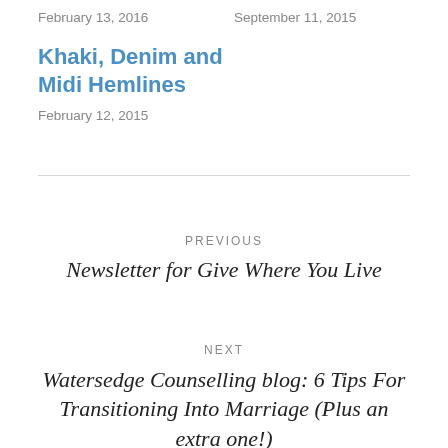Khaki, Denim and Midi Hemlines
February 12, 2015
September 11, 2015
PREVIOUS
Newsletter for Give Where You Live
NEXT
Watersedge Counselling blog: 6 Tips For Transitioning Into Marriage (Plus an extra one!)